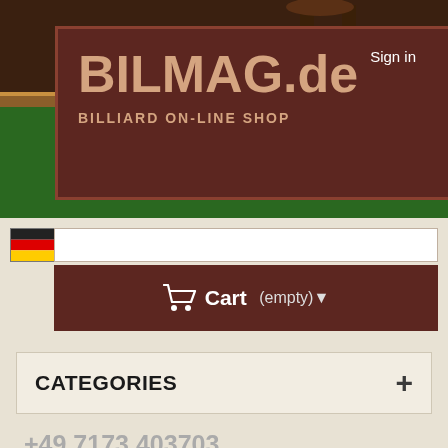[Figure (screenshot): BILMAG.de billiard online shop website header with billiard table background]
Sign in
[Figure (illustration): German flag icon for language selection]
[Figure (illustration): UK flag icon for language selection]
Cart (empty)
CATEGORIES
+49 7173 403703
+49 172 9337803
Lamps › Lamp-Set, green, Ø 35cm